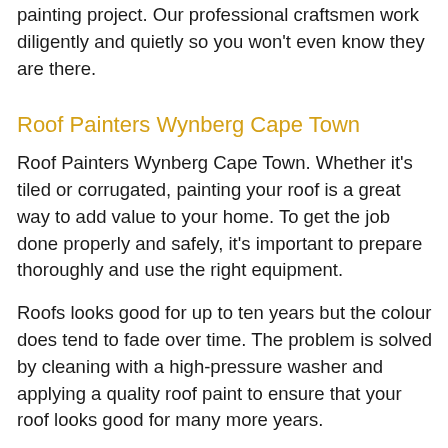painting project. Our professional craftsmen work diligently and quietly so you won't even know they are there.
Roof Painters Wynberg Cape Town
Roof Painters Wynberg Cape Town. Whether it's tiled or corrugated, painting your roof is a great way to add value to your home. To get the job done properly and safely, it's important to prepare thoroughly and use the right equipment.
Roofs looks good for up to ten years but the colour does tend to fade over time. The problem is solved by cleaning with a high-pressure washer and applying a quality roof paint to ensure that your roof looks good for many more years.